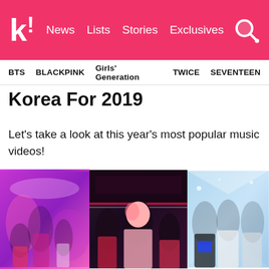k! News Lists Stories Exclusives
BTS BLACKPINK Girls' Generation TWICE SEVENTEEN
Korea For 2019
Let's take a look at this year's most popular music videos!
[Figure (photo): Three side-by-side K-pop group photos: left shows BLACKPINK members performing on stage in colorful outfits, center shows a mixed group in a store/diner setting, right shows a girl group in futuristic outfits.]